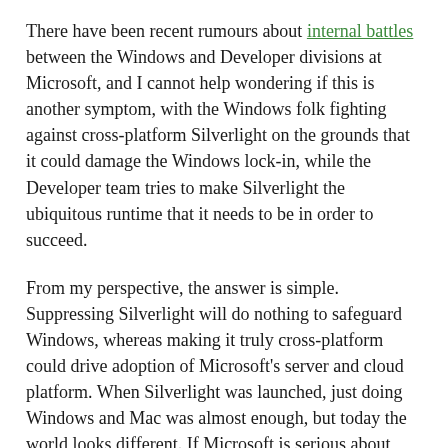There have been recent rumours about internal battles between the Windows and Developer divisions at Microsoft, and I cannot help wondering if this is another symptom, with the Windows folk fighting against cross-platform Silverlight on the grounds that it could damage the Windows lock-in, while the Developer team tries to make Silverlight the ubiquitous runtime that it needs to be in order to succeed.
From my perspective, the answer is simple. Suppressing Silverlight will do nothing to safeguard Windows, whereas making it truly cross-platform could drive adoption of Microsoft's server and cloud platform. When Silverlight was launched, just doing Windows and Mac was almost enough, but today the world looks different. If Microsoft is serious about WPF Everywhere, Linux and Android (which is Linux based) support is a necessity.